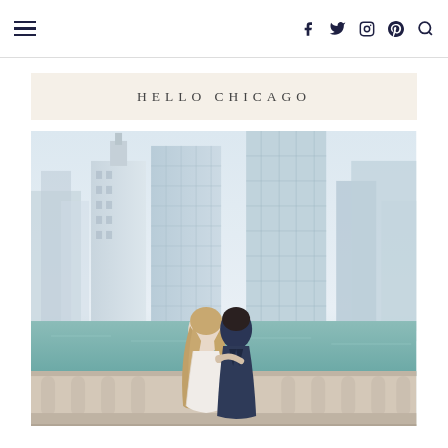Navigation header with hamburger menu and social icons (Facebook, Twitter, Instagram, Pinterest) and search
HELLO CHICAGO
[Figure (photo): A couple, bride in white lace dress and groom in navy suit, standing together on a balustrade bridge overlooking the Chicago River and skyline with tall glass skyscrapers, viewed from behind.]